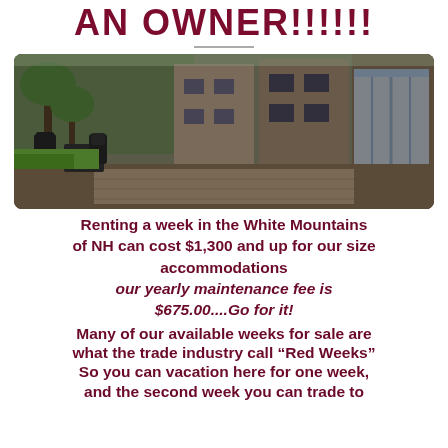AN OWNER!!!!!!
[Figure (photo): Exterior photo of a condominium or timeshare resort building with outdoor patio furniture, brick walkway, and large glass sliding doors, surrounded by trees and green lawn]
Renting a week in the White Mountains of NH can cost $1,300 and up for our size accommodations our yearly maintenance fee is $675.00....Go for it!
Many of our available weeks for sale are what the trade industry call "Red Weeks" So you can vacation here for one week, and the second week you can trade to